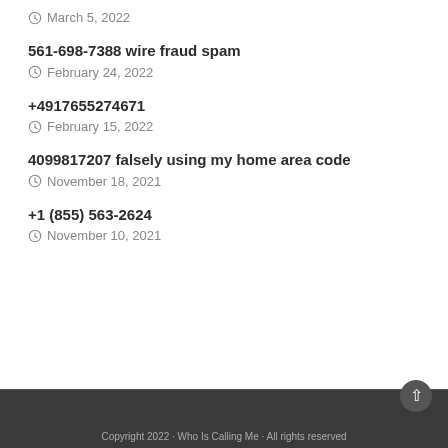March 5, 2022
561-698-7388 wire fraud spam
February 24, 2022
+4917655274671
February 15, 2022
4099817207 falsely using my home area code
November 18, 2021
+1 (855) 563-2624
November 10, 2021
Copyright 2022 · Who Is Calling Me · All rights reserved